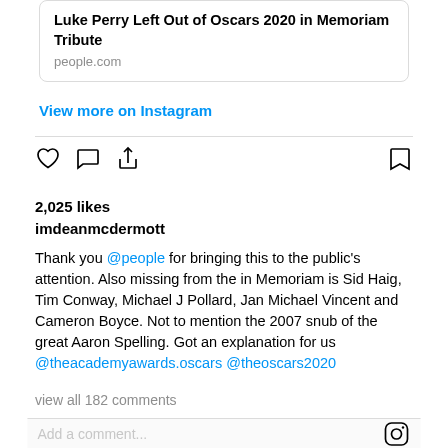Luke Perry Left Out of Oscars 2020 in Memoriam Tribute
people.com
View more on Instagram
2,025 likes
imdeanmcdermott
Thank you @people for bringing this to the public’s attention. Also missing from the in Memoriam is Sid Haig, Tim Conway, Michael J Pollard, Jan Michael Vincent and Cameron Boyce. Not to mention the 2007 snub of the great Aaron Spelling. Got an explanation for us @theacademyawards.oscars @theoscars2020
view all 182 comments
Add a comment...